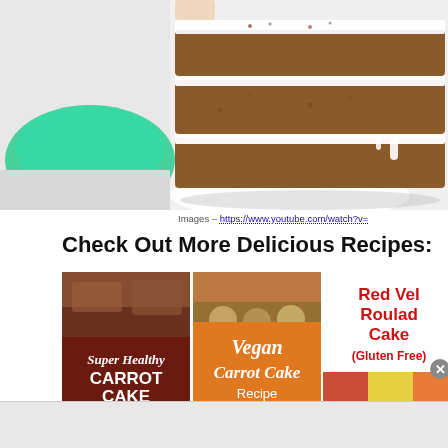[Figure (photo): A layered carrot cake with white cream cheese frosting between layers, placed on a white plate. A green bowl or plate is visible on the left. The image appears to be a screenshot from a YouTube video.]
Images – https://www.youtube.com/watch?v=
Check Out More Delicious Recipes:
[Figure (photo): Recipe card image for Super Healthy Carrot Cake Recipe from recipe-world.net, with dark red/maroon background and white text. An 'infolinks' logo appears at the bottom left.]
[Figure (photo): Recipe card image for Vegan Carrot Cake Recipe from recipe-world.net, with orange background and white italic text.]
[Figure (photo): Recipe card image for Red Velvet Roulade Cake (Gluten Free) with red text on white background and a partial bottom image of colorful ingredients.]